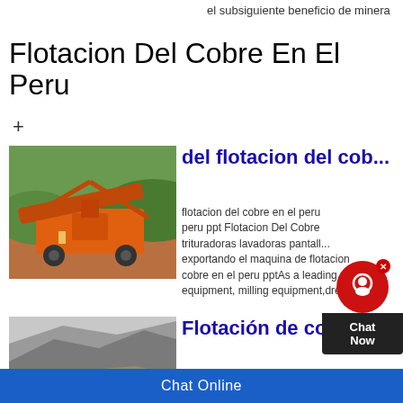el subsiguiente beneficio de minera
Flotacion Del Cobre En El Peru
+
[Figure (photo): Orange mining/crushing machine equipment outdoors with green hills in background]
del flotacion del cobre
flotacion del cobre en el peru peru ppt Flotacion Del Cobre trituradoras lavadoras pantallas exportando el maquina de flotacion cobre en el peru pptAs a leading glo equipment, milling equipment,dress
[Figure (photo): Mountain/quarry landscape with steep rocky terrain]
Flotación de cobre
Jun 28, 2016 En la práctica normal,
Chat Online